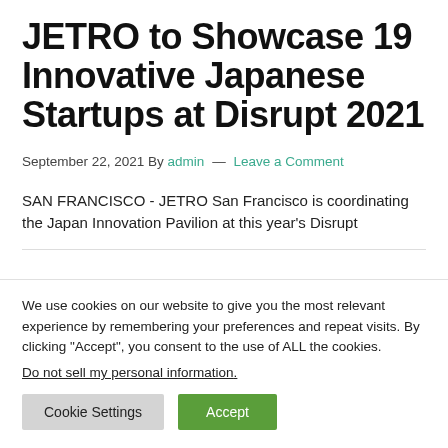JETRO to Showcase 19 Innovative Japanese Startups at Disrupt 2021
September 22, 2021 By admin — Leave a Comment
SAN FRANCISCO - JETRO San Francisco is coordinating the Japan Innovation Pavilion at this year's Disrupt
We use cookies on our website to give you the most relevant experience by remembering your preferences and repeat visits. By clicking “Accept”, you consent to the use of ALL the cookies.
Do not sell my personal information.
Cookie Settings   Accept